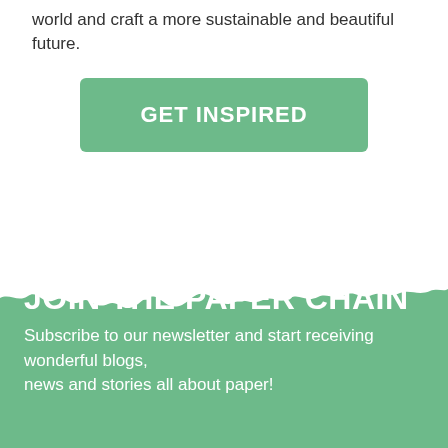world and craft a more sustainable and beautiful future.
GET INSPIRED
[Figure (illustration): Green torn paper edge decorative divider between white and green sections]
JOIN THE PAPER CHAIN
Subscribe to our newsletter and start receiving wonderful blogs, news and stories all about paper!